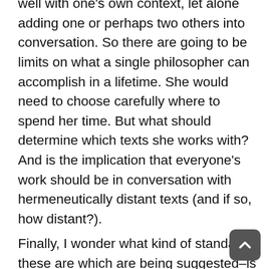well with one's own context, let alone adding one or perhaps two others into conversation. So there are going to be limits on what a single philosopher can accomplish in a lifetime. She would need to choose carefully where to spend her time. But what should determine which texts she works with? And is the implication that everyone's work should be in conversation with hermeneutically distant texts (and if so, how distant?).
Finally, I wonder what kind of standards these are which are being suggested–is it a requirement unique to our historical position (having access to so many texts?). Do we judge Indian philosophers as having failed in their responsibilities where they do not have